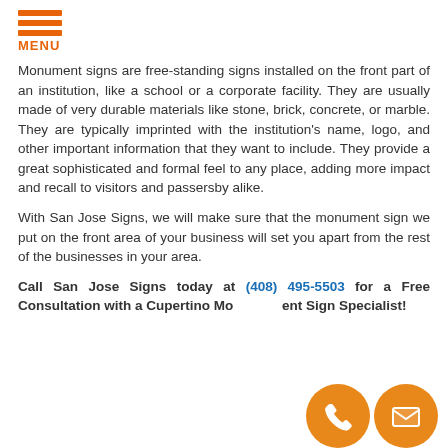MENU
Monument signs are free-standing signs installed on the front part of an institution, like a school or a corporate facility. They are usually made of very durable materials like stone, brick, concrete, or marble. They are typically imprinted with the institution's name, logo, and other important information that they want to include. They provide a great sophisticated and formal feel to any place, adding more impact and recall to visitors and passersby alike.
With San Jose Signs, we will make sure that the monument sign we put on the front area of your business will set you apart from the rest of the businesses in your area.
Call San Jose Signs today at (408) 495-5503 for a Free Consultation with a Cupertino Monument Sign Specialist!